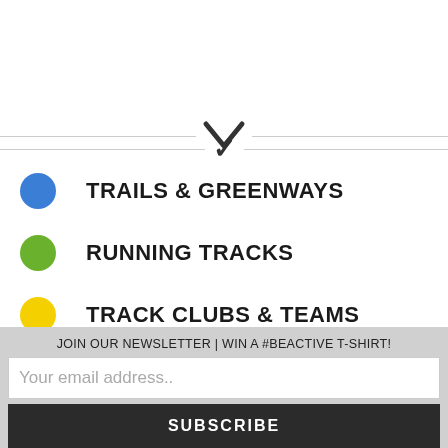[Figure (other): Horizontal divider line with a chevron/down-arrow symbol in the center]
TRAILS & GREENWAYS
RUNNING TRACKS
TRACK CLUBS & TEAMS
RUNNING SHOPS
RUNNING CLUBS (partial)
JOIN OUR NEWSLETTER | WIN A #BEACTIVE T-SHIRT!
Your email address..
SUBSCRIBE